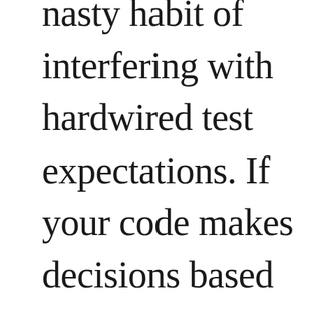nasty habit of interfering with hardwired test expectations. If your code makes decisions based on current time (e.g.